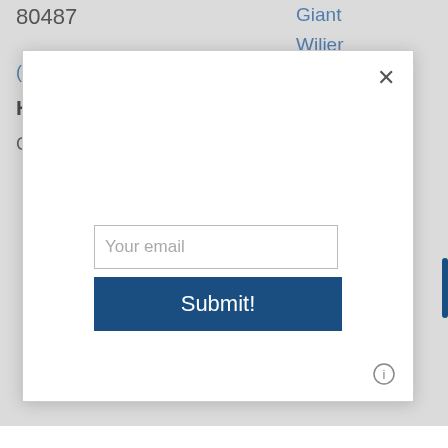80487
Giant
Wilier
(970) 879-6350 | Directions
IBIS
Intense
Hours
Closed for the S...
[Figure (screenshot): Modal dialog overlay with an email input field showing placeholder text 'Your email' and a dark blue 'Submit!' button. A close (×) button appears in the top-right corner of the modal. An info icon (ⓘ) appears in the bottom-right area.]